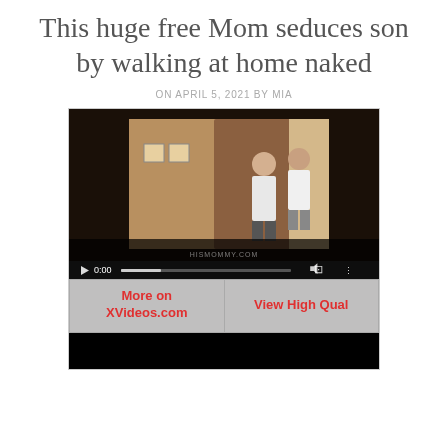This huge free Mom seduces son by walking at home naked
ON APRIL 5, 2021 BY MIA
[Figure (screenshot): Embedded video player showing a video thumbnail of two people in a hallway/room. Video controls show 0:00 timestamp. Below the player are two buttons: 'More on XVideos.com' and 'View High Qual'. Watermark reads HISMOMMY.COM.]